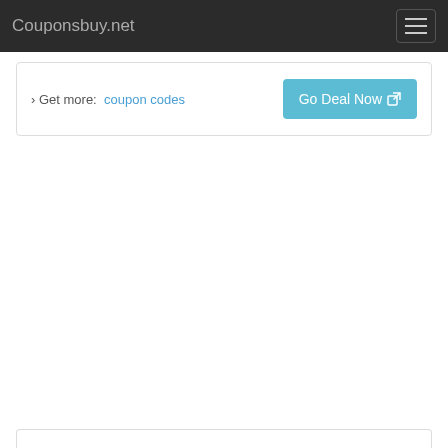Couponsbuy.net
› Get more:  coupon codes
Go Deal Now